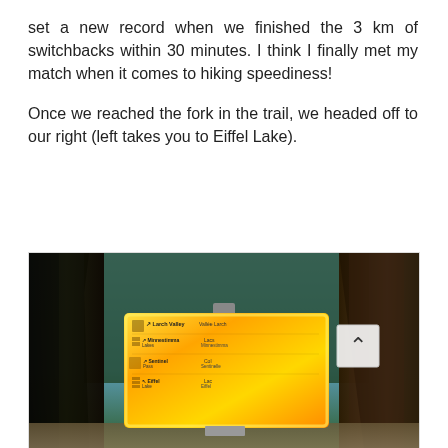set a new record when we finished the 3 km of switchbacks within 30 minutes. I think I finally met my match when it comes to hiking speediness!

Once we reached the fork in the trail, we headed off to our right (left takes you to Eiffel Lake).
[Figure (photo): Outdoor trail signage photo showing a bright yellow bilingual (English/French) Parks Canada trail sign mounted on a post amidst tall dark conifer trees. The sign lists Larch Valley/Vallée Larch, Minnestimma Lakes/Lacs Minnestimma, Sentinel Pass/Col Sentinelle, and Eiffel Lake/Lac Eiffel with directional arrows. A back-to-top chevron button overlay appears in the upper right corner of the image.]